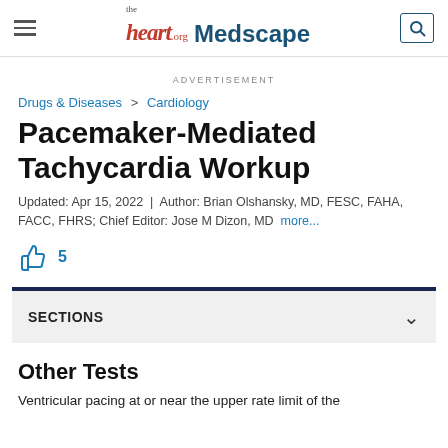the heart.org Medscape
ADVERTISEMENT
Drugs & Diseases > Cardiology
Pacemaker-Mediated Tachycardia Workup
Updated: Apr 15, 2022 | Author: Brian Olshansky, MD, FESC, FAHA, FACC, FHRS; Chief Editor: Jose M Dizon, MD more...
5
SECTIONS
Other Tests
Ventricular pacing at or near the upper rate limit of the